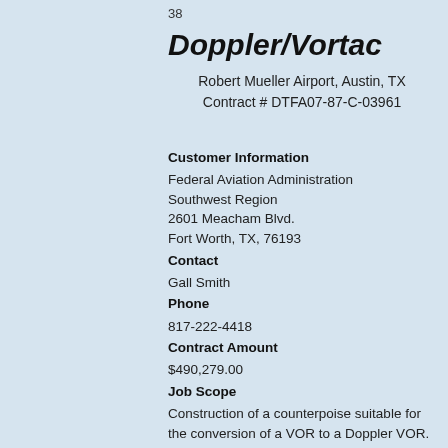38
Doppler/Vortac
Robert Mueller Airport, Austin, TX
Contract # DTFA07-87-C-03961
Customer Information
Federal Aviation Administration
Southwest Region
2601 Meacham Blvd.
Fort Worth, TX, 76193
Contact
Gall Smith
Phone
817-222-4418
Contract Amount
$490,279.00
Job Scope
Construction of a counterpoise suitable for the conversion of a VOR to a Doppler VOR.
Awarded
N/A